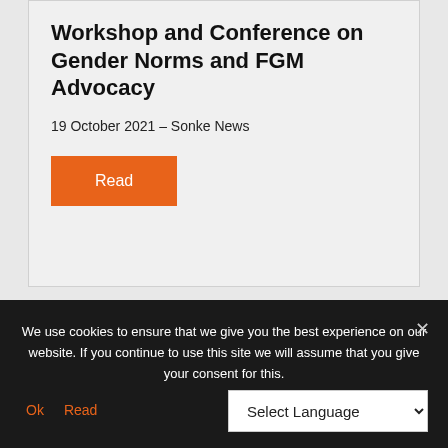Workshop and Conference on Gender Norms and FGM Advocacy
19 October 2021 – Sonke News
Read
We use cookies to ensure that we give you the best experience on our website. If you continue to use this site we will assume that you give your consent for this.
Ok  Read  Select Language